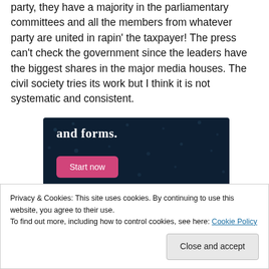majority in the legislature are members of the governing party, they have a majority in the parliamentary committees and all the members from whatever party are united in rapin' the taxpayer! The press can't check the government since the leaders have the biggest shares in the major media houses. The civil society tries its work but I think it is not systematic and consistent.
[Figure (screenshot): Advertisement banner with dark navy background showing text 'and forms.' in white serif bold font, a pink 'Start now' button, and a circular Crowd logo in the bottom right corner.]
Privacy & Cookies: This site uses cookies. By continuing to use this website, you agree to their use.
To find out more, including how to control cookies, see here: Cookie Policy